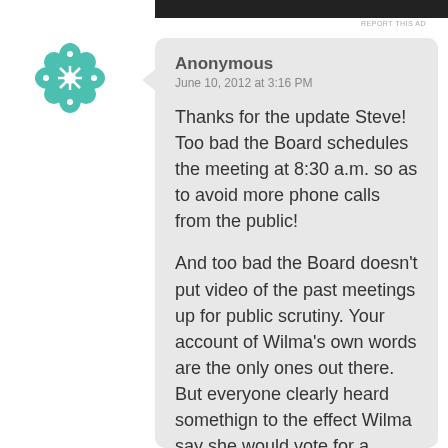Anonymous
June 10, 2012 at 3:16 PM
Thanks for the update Steve! Too bad the Board schedules the meeting at 8:30 a.m. so as to avoid more phone calls from the public!

And too bad the Board doesn't put video of the past meetings up for public scrutiny. Your account of Wilma's own words are the only ones out there. But everyone clearly heard somethign to the effect Wilma say she would vote for a qualified woman. Then she does the about-face after the all out blitz by labor